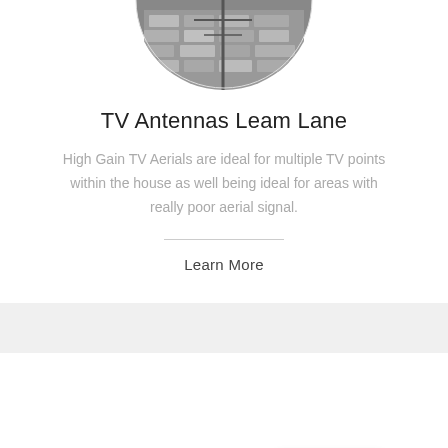[Figure (photo): Circular cropped black and white photo of a TV antenna on a building rooftop, showing the bottom half of the circle]
TV Antennas Leam Lane
High Gain TV Aerials are ideal for multiple TV points within the house as well being ideal for areas with really poor aerial signal.
Learn More
[Figure (photo): Circular cropped black and white photo of a person working, showing the top half of the circle]
Contact Me